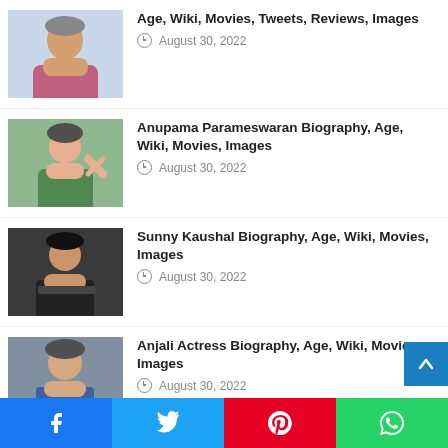Age, Wiki, Movies, Tweets, Reviews, Images — August 30, 2022
Anupama Parameswaran Biography, Age, Wiki, Movies, Images — August 30, 2022
Sunny Kaushal Biography, Age, Wiki, Movies, Images — August 30, 2022
Anjali Actress Biography, Age, Wiki, Movie, Images — August 30, 2022
Advertisement